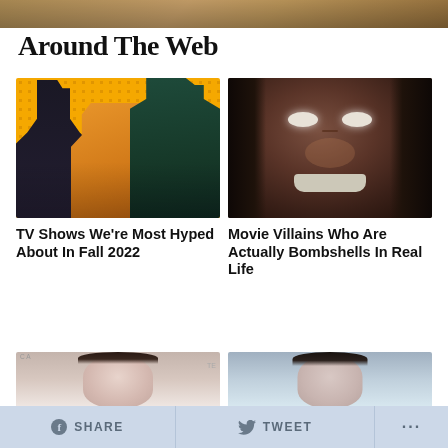[Figure (photo): Partial top image strip showing a golden/brown background]
Around The Web
[Figure (photo): TV show promotional image with three characters on yellow polka-dot background]
TV Shows We're Most Hyped About In Fall 2022
[Figure (photo): Horror movie villain with dreadlocks, white eyes, and teeth showing]
Movie Villains Who Are Actually Bombshells In Real Life
[Figure (photo): Partial bottom left image showing a woman's face]
[Figure (photo): Partial bottom right image showing a person's face]
SHARE   TWEET   ...